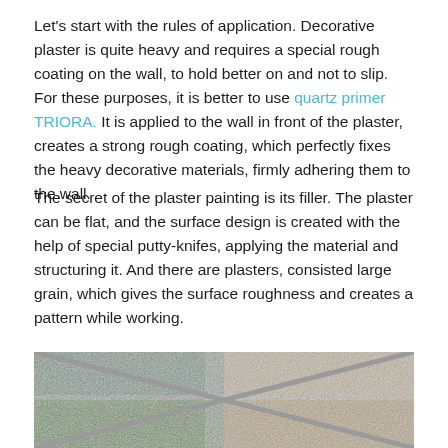Let's start with the rules of application. Decorative plaster is quite heavy and requires a special rough coating on the wall, to hold better on and not to slip. For these purposes, it is better to use quartz primer TRIORA. It is applied to the wall in front of the plaster, creates a strong rough coating, which perfectly fixes the heavy decorative materials, firmly adhering them to the wall.
The secret of the plaster painting is its filler. The plaster can be flat, and the surface design is created with the help of special putty-knifes, applying the material and structuring it. And there are plasters, consisted large grain, which gives the surface roughness and creates a pattern while working.
[Figure (photo): Close-up photo of four decorative plaster texture samples arranged in quadrants, separated by gray dividing lines in an X pattern. Top-left: blue-gray rough granular texture. Top-right: light beige/cream coarse texture. Bottom-left: green granular texture. Bottom-right: tan/sand coarse texture.]